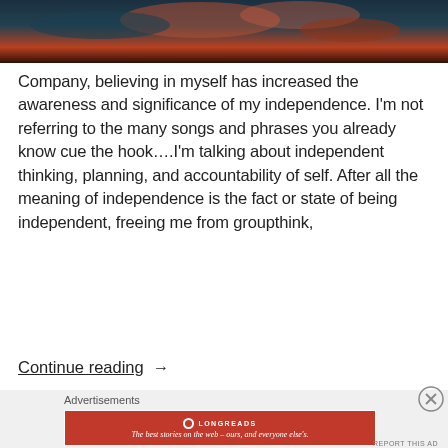[Figure (photo): Dark atmospheric photo with teal and orange/red tones, appears to be a landscape or abstract background image at the top of the page.]
Company, believing in myself has increased the awareness and significance of my independence. I'm not referring to the many songs and phrases you already know cue the hook….I'm talking about independent thinking, planning, and accountability of self. After all the meaning of independence is the fact or state of being independent, freeing me from groupthink,
Continue reading →
Advertisements
[Figure (logo): Longreads advertisement banner: red background with Longreads logo and tagline 'The best stories on the web – ours, and everyone else's.']